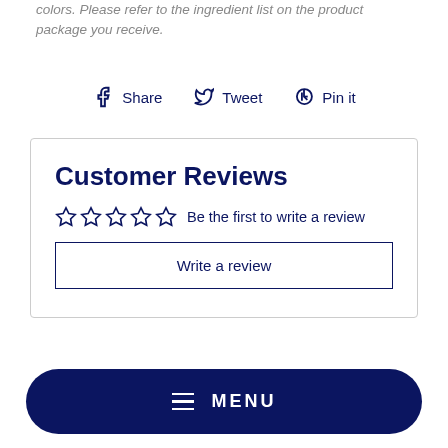colors. Please refer to the ingredient list on the product package you receive.
Share  Tweet  Pin it
Customer Reviews
☆☆☆☆☆ Be the first to write a review
Write a review
≡ MENU